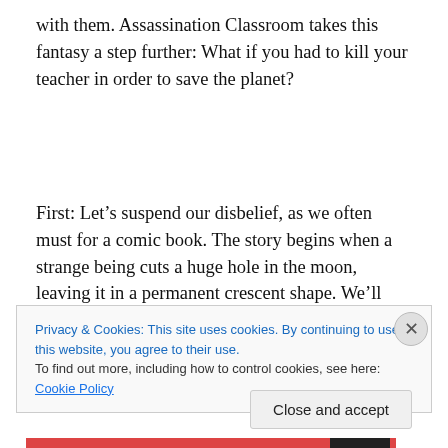with them. Assassination Classroom takes this fantasy a step further: What if you had to kill your teacher in order to save the planet?
First: Let’s suspend our disbelief, as we often must for a comic book. The story begins when a strange being cuts a huge hole in the moon, leaving it in a permanent crescent shape. We’ll leave the scientific implications of this to the
Privacy & Cookies: This site uses cookies. By continuing to use this website, you agree to their use.
To find out more, including how to control cookies, see here: Cookie Policy
Close and accept